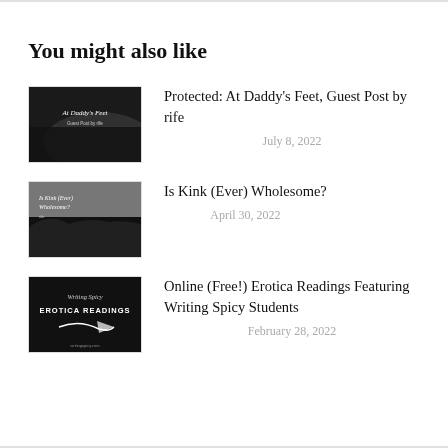You might also like
[Figure (photo): Black and white thumbnail image for 'At Daddy's Feet' blog post]
Protected: At Daddy's Feet, Guest Post by rife
July 8, 2022
[Figure (photo): Black and white thumbnail image for 'Is Kink (Ever) Wholesome?' blog post]
Is Kink (Ever) Wholesome?
April 30, 2022
[Figure (photo): Black and white thumbnail image for 'Online (Free!) Erotica Readings Featuring Writing Spicy Students' blog post]
Online (Free!) Erotica Readings Featuring Writing Spicy Students
February 28, 2022